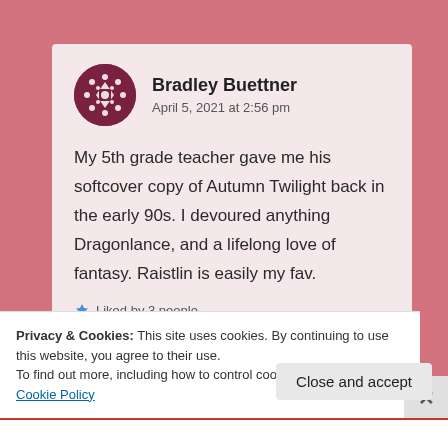Bradley Buettner
April 5, 2021 at 2:56 pm
My 5th grade teacher gave me his softcover copy of Autumn Twilight back in the early 90s. I devoured anything Dragonlance, and a lifelong love of fantasy. Raistlin is easily my fav.
Privacy & Cookies: This site uses cookies. By continuing to use this website, you agree to their use.
To find out more, including how to control cookies, see here: Cookie Policy
Close and accept